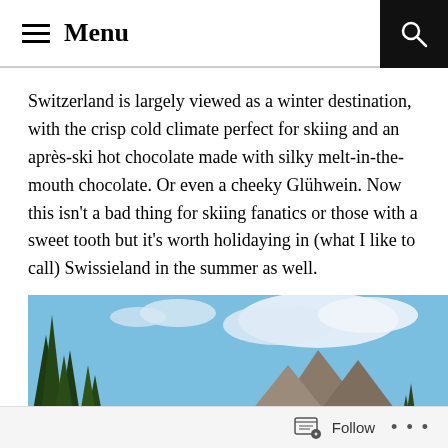Menu
Switzerland is largely viewed as a winter destination, with the crisp cold climate perfect for skiing and an après-ski hot chocolate made with silky melt-in-the-mouth chocolate. Or even a cheeky Glühwein. Now this isn't a bad thing for skiing fanatics or those with a sweet tooth but it's worth holidaying in (what I like to call) Swissieland in the summer as well.
[Figure (photo): Outdoor landscape photograph showing tall conifer trees on the left, a rocky mountain peak in the center-right, and a blue sky with white clouds above.]
Follow ...